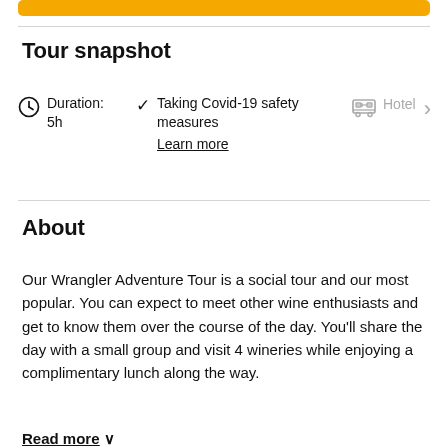[Figure (other): Yellow/gold rounded button or bar at the top of the page]
Tour snapshot
Duration: 5h
Taking Covid-19 safety measures
Learn more
Hotel
About
Our Wrangler Adventure Tour is a social tour and our most popular. You can expect to meet other wine enthusiasts and get to know them over the course of the day. You'll share the day with a small group and visit 4 wineries while enjoying a complimentary lunch along the way.
Read more